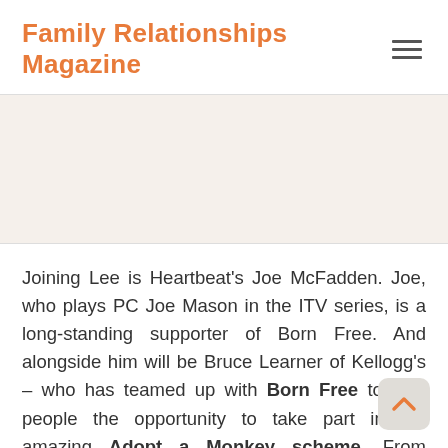Family Relationships Magazine
[Figure (other): Advertisement or image placeholder area (light beige background, no visible content)]
Joining Lee is Heartbeat's Joe McFadden. Joe, who plays PC Joe Mason in the ITV series, is a long-standing supporter of Born Free. And alongside him will be Bruce Learner of Kellogg's – who has teamed up with Born Free to give people the opportunity to take part in the amazing Adopt a Monkey scheme. From January to March 2009,